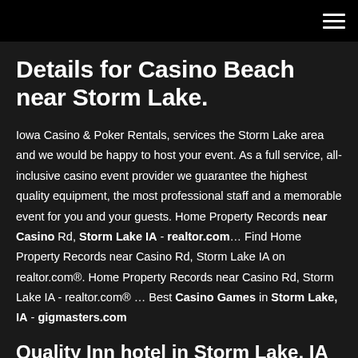≡
Details for Casino Beach near Storm Lake.
Iowa Casino & Poker Rentals, services the Storm Lake area and we would be happy to host your event. As a full service, all-inclusive casino event provider we guarantee the highest quality equipment, the most professional staff and a memorable event for you and your guests. Home Property Records near Casino Rd, Storm Lake IA - realtor.com… Find Home Property Records near Casino Rd, Storm Lake IA on realtor.com®. Home Property Records near Casino Rd, Storm Lake IA - realtor.com® … Best Casino Games in Storm Lake, IA - gigmasters.com
Quality Inn hotel in Storm Lake, IA near